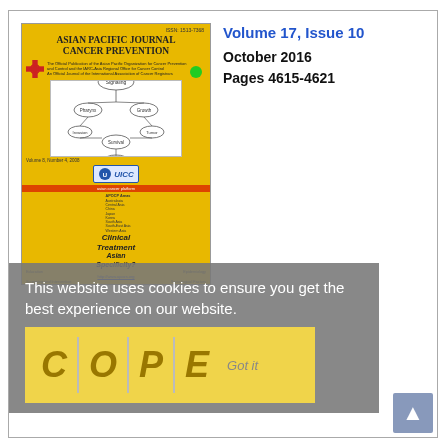[Figure (illustration): Cover image of Asian Pacific Journal of Cancer Prevention journal, Volume 8, Number 4, 2008, yellow cover with UICC logo and a diagram showing cancer treatment pathways, with text 'Clinical Treatment' and 'Asian Specificity?']
Volume 17, Issue 10
October 2016
Pages 4615-4621
This website uses cookies to ensure you get the best experience on our website.
Got it
[Figure (logo): COPE logo with letters C O P E in italic bold olive/dark yellow color, separated by vertical lines, on yellow background]